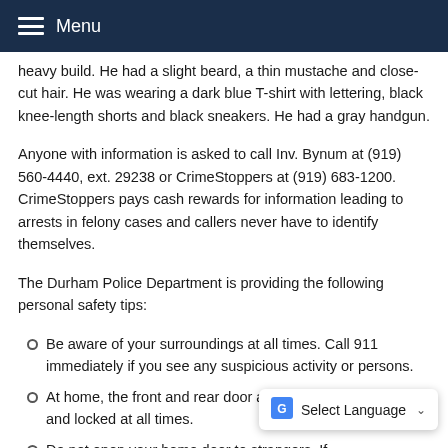Menu
heavy build. He had a slight beard, a thin mustache and close-cut hair. He was wearing a dark blue T-shirt with lettering, black knee-length shorts and black sneakers. He had a gray handgun.
Anyone with information is asked to call Inv. Bynum at (919) 560-4440, ext. 29238 or CrimeStoppers at (919) 683-1200. CrimeStoppers pays cash rewards for information leading to arrests in felony cases and callers never have to identify themselves.
The Durham Police Department is providing the following personal safety tips:
Be aware of your surroundings at all times. Call 911 immediately if you see any suspicious activity or persons.
At home, the front and rear door areas should be well-lit and locked at all times.
Do not open your home door to strangers. If